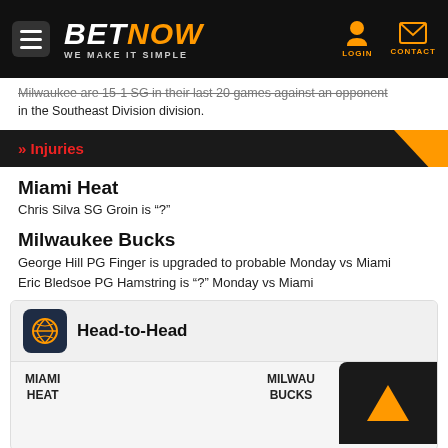BETNOW WE MAKE IT SIMPLE
Milwaukee are 15-1 SG in their last 20 games against an opponent in the Southeast Division division.
» Injuries
Miami Heat
Chris Silva SG Groin is "?"
Milwaukee Bucks
George Hill PG Finger is upgraded to probable Monday vs Miami
Eric Bledsoe PG Hamstring is "?" Monday vs Miami
Head-to-Head
MIAMI HEAT   MILWAUKEE BUCKS